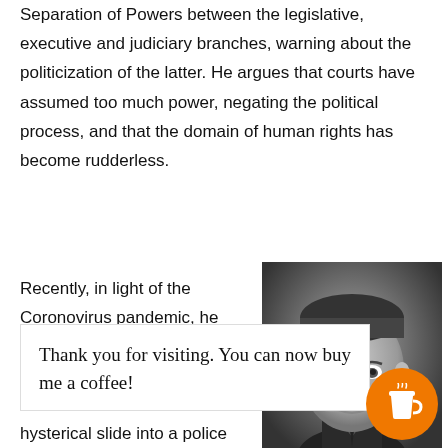Separation of Powers between the legislative, executive and judiciary branches, warning about the politicization of the latter. He argues that courts have assumed too much power, negating the political process, and that the domain of human rights has become rudderless.
Recently, in light of the Coronovirus pandemic, he has sagely warned about the endurance of restrictions on
[Figure (photo): Black and white portrait photograph of a man in a suit and tie, formal pose, mid-20th century style.]
Thank you for visiting. You can now buy me a coffee!
hysterical slide into a police